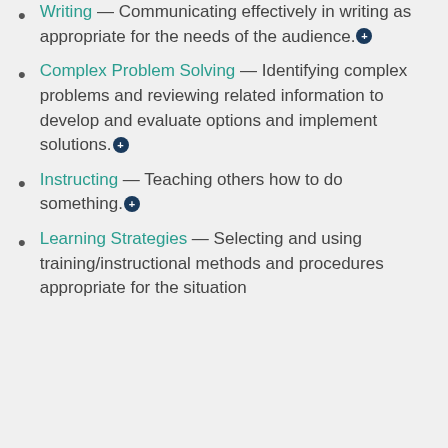Writing — Communicating effectively in writing as appropriate for the needs of the audience.
Complex Problem Solving — Identifying complex problems and reviewing related information to develop and evaluate options and implement solutions.
Instructing — Teaching others how to do something.
Learning Strategies — Selecting and using training/instructional methods and procedures appropriate for the situation